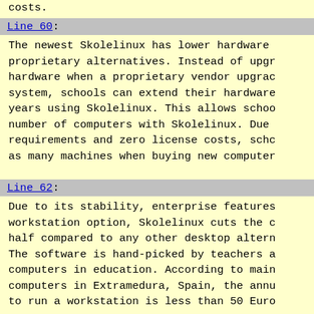costs.
Line 60:
The newest Skolelinux has lower hardware proprietary alternatives. Instead of upgrading hardware when a proprietary vendor upgrades system, schools can extend their hardware years using Skolelinux. This allows schools number of computers with Skolelinux. Due requirements and zero license costs, schools as many machines when buying new computers
Line 62:
Due to its stability, enterprise features workstation option, Skolelinux cuts the cost half compared to any other desktop alternative. The software is hand-picked by teachers and computers in education. According to maintainers computers in Extramedura, Spain, the annual cost to run a workstation is less than 50 Euro